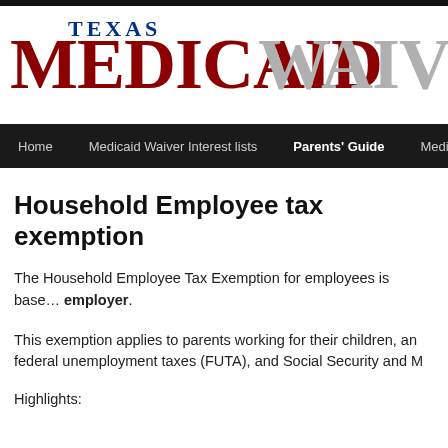TEXAS MEDICAID WAIVER
Home | Medicaid Waiver Interest lists | Parents' Guide | Medicaid
Household Employee tax exemption
The Household Employee Tax Exemption for employees is based on the employer.
This exemption applies to parents working for their children, and federal unemployment taxes (FUTA), and Social Security and M
Highlights: